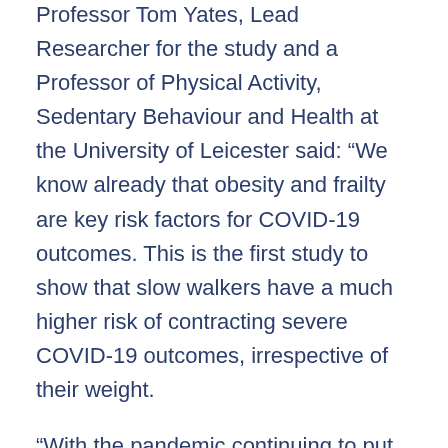Professor Tom Yates, Lead Researcher for the study and a Professor of Physical Activity, Sedentary Behaviour and Health at the University of Leicester said: “We know already that obesity and frailty are key risk factors for COVID-19 outcomes. This is the first study to show that slow walkers have a much higher risk of contracting severe COVID-19 outcomes, irrespective of their weight.
“With the pandemic continuing to put unprecedented strain on health care services and communities, identifying individuals at greatest risk and taking preventative measures to protect them is crucial.”